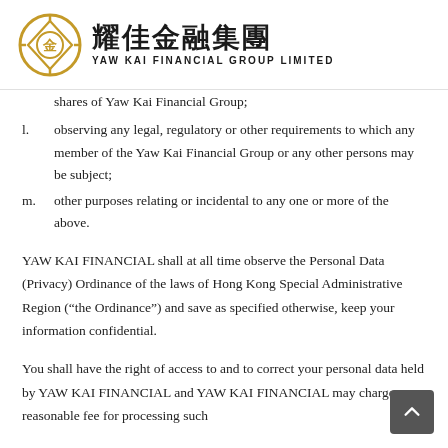[Figure (logo): Yaw Kai Financial Group Limited logo with gold circular emblem and Chinese/English text]
shares of Yaw Kai Financial Group;
l. observing any legal, regulatory or other requirements to which any member of the Yaw Kai Financial Group or any other persons may be subject;
m. other purposes relating or incidental to any one or more of the above.
YAW KAI FINANCIAL shall at all time observe the Personal Data (Privacy) Ordinance of the laws of Hong Kong Special Administrative Region (“the Ordinance”) and save as specified otherwise, keep your information confidential.
You shall have the right of access to and to correct your personal data held by YAW KAI FINANCIAL and YAW KAI FINANCIAL may charge a reasonable fee for processing such